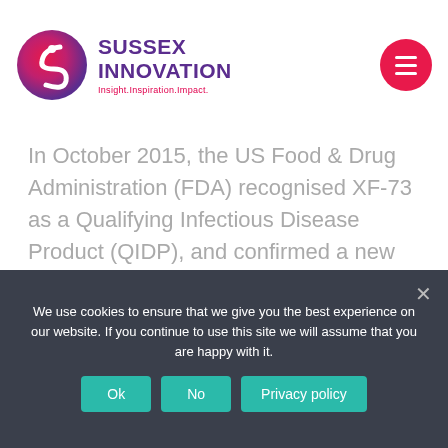[Figure (logo): Sussex Innovation logo with circular gradient icon (pink/purple) and text 'SUSSEX INNOVATION' in purple with tagline 'Insight.Inspiration.Impact.' in pink]
[Figure (other): Red/pink circular hamburger menu button with three white horizontal lines]
In October 2015, the US Food & Drug Administration (FDA) recognised XF-73 as a Qualifying Infectious Disease Product (QIDP), and confirmed a new medical indication for the drug, namely for the 'Prevention of Post-Surgical Staphylococcal Infections'. Compared to antibiotics, XF-73 has a novel structure and mechanism of action, killing SA bacteria rapidly without appearing
We use cookies to ensure that we give you the best experience on our website. If you continue to use this site we will assume that you are happy with it.
Ok
No
Privacy policy